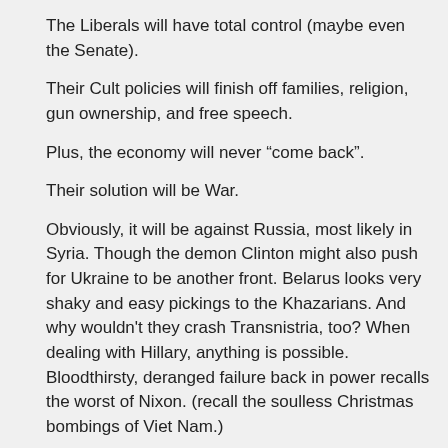The Liberals will have total control (maybe even the Senate).
Their Cult policies will finish off families, religion, gun ownership, and free speech.
Plus, the economy will never “come back”.
Their solution will be War.
Obviously, it will be against Russia, most likely in Syria. Though the demon Clinton might also push for Ukraine to be another front. Belarus looks very shaky and easy pickings to the Khazarians. And why wouldn’t they crash Transnistria, too? When dealing with Hillary, anything is possible. Bloodthirsty, deranged failure back in power recalls the worst of Nixon. (recall the soulless Christmas bombings of Viet Nam.)
Reply
B.F.  on April 08, 2020 · at 1:32 pm EST/EDT
Larchmonter445
Starting a war during a financial crisis is an old bankers trick, as wars conceal financial problems and induce industrial production.